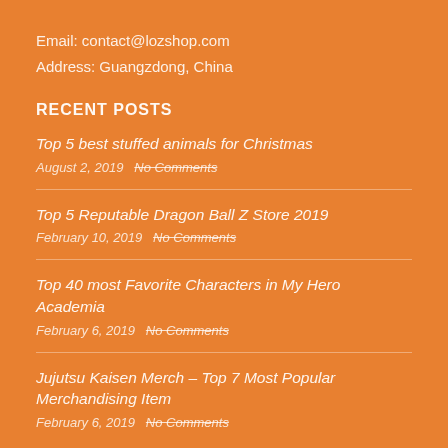Email: contact@lozshop.com
Address: Guangzdong, China
RECENT POSTS
Top 5 best stuffed animals for Christmas
August 2, 2019   No Comments
Top 5 Reputable Dragon Ball Z Store 2019
February 10, 2019   No Comments
Top 40 most Favorite Characters in My Hero Academia
February 6, 2019   No Comments
Jujutsu Kaisen Merch – Top 7 Most Popular Merchandising Item
February 6, 2019   No Comments